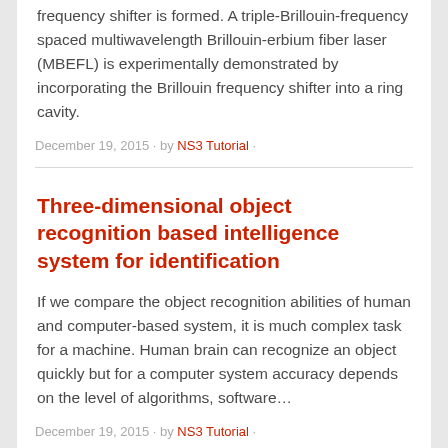frequency shifter is formed. A triple-Brillouin-frequency spaced multiwavelength Brillouin-erbium fiber laser (MBEFL) is experimentally demonstrated by incorporating the Brillouin frequency shifter into a ring cavity.
December 19, 2015 · by NS3 Tutorial ·
Three-dimensional object recognition based intelligence system for identification
If we compare the object recognition abilities of human and computer-based system, it is much complex task for a machine. Human brain can recognize an object quickly but for a computer system accuracy depends on the level of algorithms, software…
December 19, 2015 · by NS3 Tutorial ·